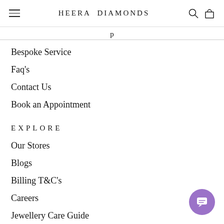HEERA DIAMONDS
p
Bespoke Service
Faq's
Contact Us
Book an Appointment
EXPLORE
Our Stores
Blogs
Billing T&C's
Careers
Jewellery Care Guide